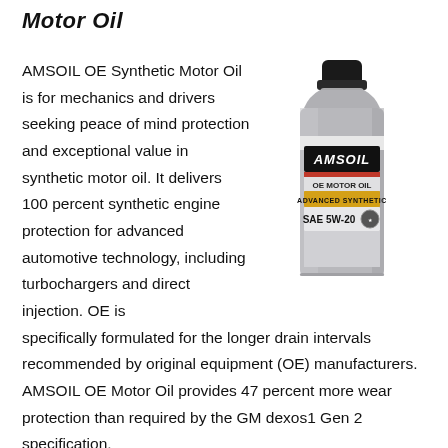Motor Oil
[Figure (photo): AMSOIL OE Synthetic Motor Oil bottle, SAE 5W-20, gray metallic bottle with black cap and AMSOIL label]
AMSOIL OE Synthetic Motor Oil is for mechanics and drivers seeking peace of mind protection and exceptional value in synthetic motor oil. It delivers 100 percent synthetic engine protection for advanced automotive technology, including turbochargers and direct injection. OE is specifically formulated for the longer drain intervals recommended by original equipment (OE) manufacturers. AMSOIL OE Motor Oil provides 47 percent more wear protection than required by the GM dexos1 Gen 2 specification,